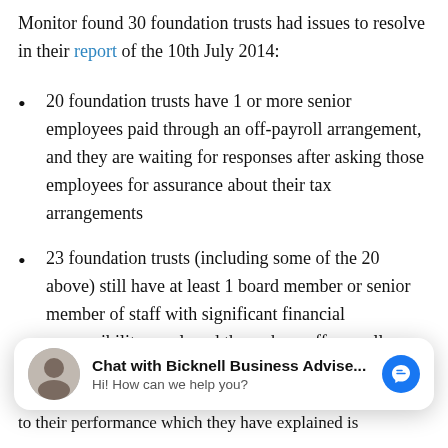Monitor found 30 foundation trusts had issues to resolve in their report of the 10th July 2014:
20 foundation trusts have 1 or more senior employees paid through an off-payroll arrangement, and they are waiting for responses after asking those employees for assurance about their tax arrangements
23 foundation trusts (including some of the 20 above) still have at least 1 board member or senior member of staff with significant financial responsibility employed through an off-payroll arrangement
to their performance which they have explained is